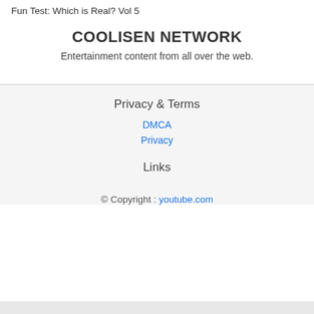Fun Test: Which is Real? Vol 5
COOLISEN NETWORK
Entertainment content from all over the web.
Privacy & Terms
DMCA
Privacy
Links
© Copyright : youtube.com